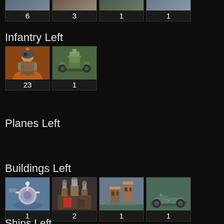[Figure (other): Partial top row of unit thumbnails with counts: 6, 3, 1, 1]
Infantry Left
[Figure (other): Two infantry unit thumbnails with counts: 23, 1]
Planes Left
Buildings Left
[Figure (other): Four building thumbnails with counts: 1, 2, 1, 1]
Ships Left